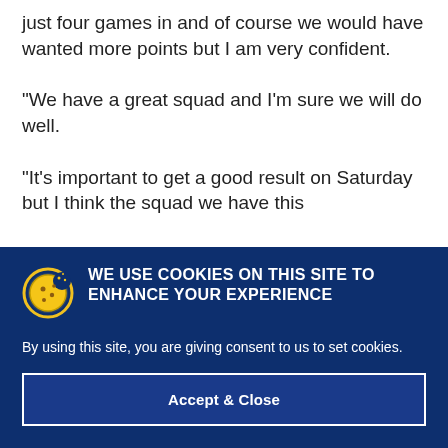just four games in and of course we would have wanted more points but I am very confident.
“We have a great squad and I’m sure we will do well.
“It’s important to get a good result on Saturday but I think the squad we have this
WE USE COOKIES ON THIS SITE TO ENHANCE YOUR EXPERIENCE
By using this site, you are giving consent to us to set cookies.
Accept & Close